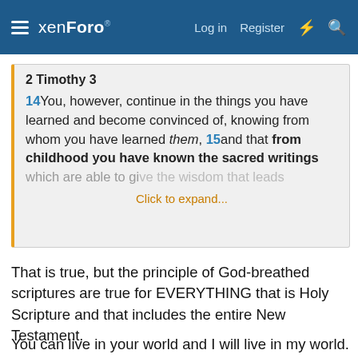xenForo — Log in   Register
2 Timothy 3
14You, however, continue in the things you have learned and become convinced of, knowing from whom you have learned them, 15and that from childhood you have known the sacred writings which are able to give the wisdom that leads
Click to expand...
That is true, but the principle of God-breathed scriptures are true for EVERYTHING that is Holy Scripture and that includes the entire New Testament.
You can live in your world and I will live in my world.
Algernon said: ↑
Whe th...